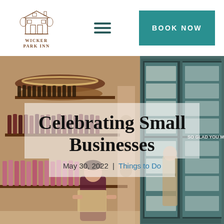[Figure (logo): Wicker Park Inn logo — line-art illustration of a Victorian building with the text WICKER PARK INN below in brown serif capitals]
[Figure (other): Hamburger menu icon — three horizontal teal lines]
[Figure (other): Teal 'BOOK NOW' button in the header]
[Figure (photo): Interior of a wine and beverage shop with rows of bottles on wooden shelves on the left, refrigerated glass-door beverage coolers on the right, warm lighting, a staff member carrying a box in the foreground, and another person browsing in the background. A sign partially reads 'SO GLAD YOU MADE I...']
Celebrating Small Businesses
May 30, 2022  |  Things to Do